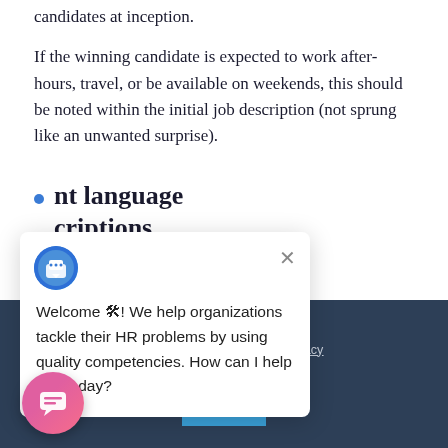candidates at inception.
If the winning candidate is expected to work after-hours, travel, or be available on weekends, this should be noted within the initial job description (not sprung like an unwanted surprise).
nt language criptions
[Figure (screenshot): Chat widget popup with avatar icon, close X button, and message: Welcome! We help organizations tackle their HR problems by using quality competencies. How can I help you today?]
ou consent to For more information, please view our privacy policy.
[Figure (other): OK button in blue, and pink/red circular chat launcher button at bottom left]